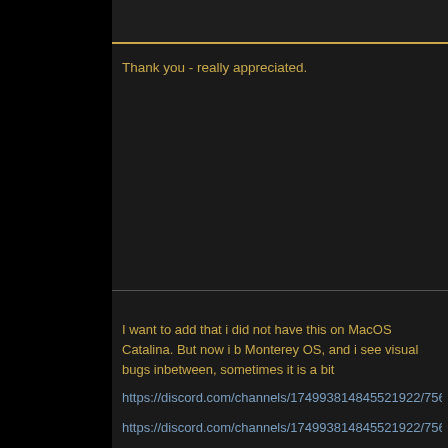Thank you - really appreciated.
I want to add that i did not have this on MacOS Catalina. But now i b Monterey OS, and i see visual bugs inbetween, sometimes it is a bit
https://discord.com/channels/174993814845521922/756296636275​3
https://discord.com/channels/174993814845521922/756296636275​3